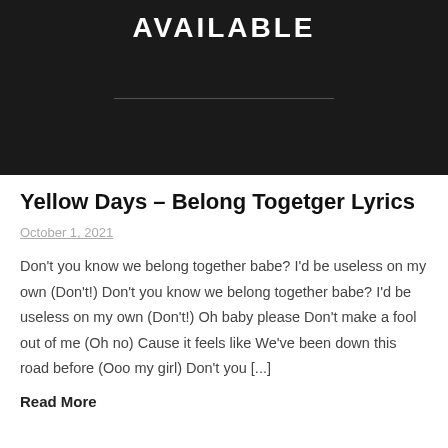[Figure (other): Dark black banner image with the word AVAILABLE in large white bold uppercase letters, with a horizontal divider line visible in the lower portion]
Yellow Days – Belong Togetger Lyrics
October 1, 2021
Don't you know we belong together babe? I'd be useless on my own (Don't!) Don't you know we belong together babe? I'd be useless on my own (Don't!) Oh baby please Don't make a fool out of me (Oh no) Cause it feels like We've been down this road before (Ooo my girl) Don't you [...]
Read More